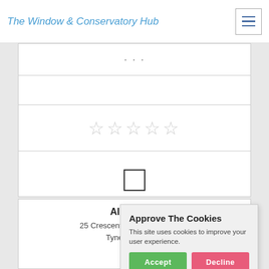The Window & Conservatory Hub
[Figure (screenshot): Form card with ellipsis dots row, empty row, star rating row (5 empty stars), checkbox row, and Get a Quote button]
Allweather
25 Crescent Waysouth, Fores...
Tyne And Wea...
Approve The Cookies
This site uses cookies to improve your user experience.
Accept | Decline
Cookie policy